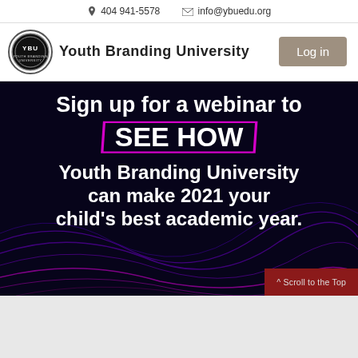📞 404 941-5578   ✉ info@ybuedu.org
[Figure (logo): Youth Branding University circular seal logo with YBU text]
Youth Branding University
[Figure (screenshot): Dark hero banner with purple/magenta decorative wave lines. Text reads: Sign up for a webinar to SEE HOW (SEE HOW is highlighted in a magenta outlined box) Youth Branding University can make 2021 your child's best academic year.]
^ Scroll to the Top